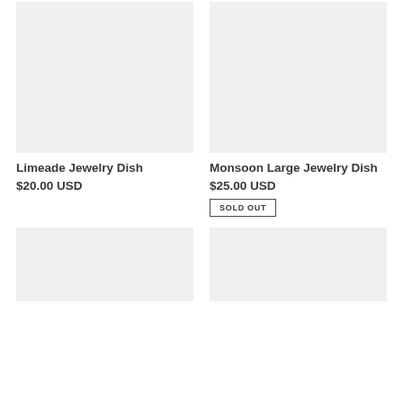[Figure (photo): Limeade Jewelry Dish product image placeholder, light gray background]
[Figure (photo): Monsoon Large Jewelry Dish product image placeholder, light gray background]
Limeade Jewelry Dish
$20.00 USD
Monsoon Large Jewelry Dish
$25.00 USD
SOLD OUT
[Figure (photo): Third product image placeholder, light gray background]
[Figure (photo): Fourth product image placeholder, light gray background]